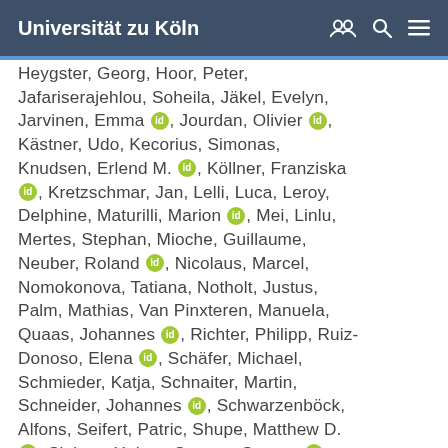Universität zu Köln
Heygster, Georg, Hoor, Peter, Jafariserajehlou, Soheila, Jäkel, Evelyn, Jarvinen, Emma [orcid], Jourdan, Olivier [orcid], Kästner, Udo, Kecorius, Simonas, Knudsen, Erlend M. [orcid], Köllner, Franziska [orcid], Kretzschmar, Jan, Lelli, Luca, Leroy, Delphine, Maturilli, Marion [orcid], Mei, Linlu, Mertes, Stephan, Mioche, Guillaume, Neuber, Roland [orcid], Nicolaus, Marcel, Nomokonova, Tatiana, Notholt, Justus, Palm, Mathias, Van Pinxteren, Manuela, Quaas, Johannes [orcid], Richter, Philipp, Ruiz-Donoso, Elena [orcid], Schäfer, Michael, Schmieder, Katja, Schnaiter, Martin, Schneider, Johannes [orcid], Schwarzenböck, Alfons, Seifert, Patric, Shupe, Matthew D. [orcid], Siebert, Holger, Spreen, Gunnar [orcid], Stapf, Johannes [orcid], Stratmann, Frank, Vogl, Teresa, Welti, André, Wex, Heike